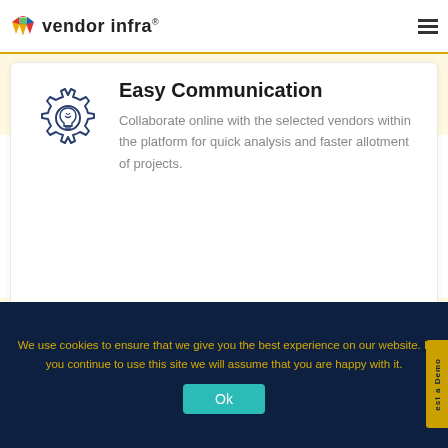vendor infra
Collaborate & Construct
When you share your Vendor Infra profile with verified members.
Easy Communication
Collaborate online with the selected vendors within the platform for quick analysis and faster allotment of projects.
We use cookies to ensure that we give you the best experience on our website. If you continue to use this site we will assume that you are happy with it.
Ok
est a Demo